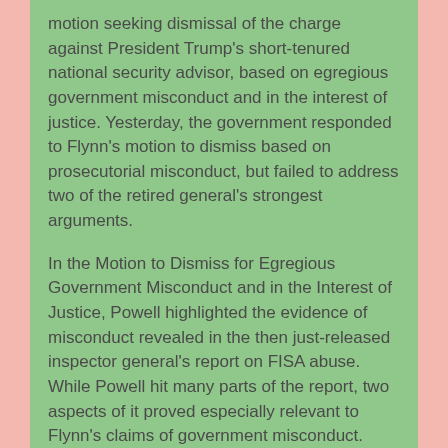motion seeking dismissal of the charge against President Trump's short-tenured national security advisor, based on egregious government misconduct and in the interest of justice. Yesterday, the government responded to Flynn's motion to dismiss based on prosecutorial misconduct, but failed to address two of the retired general's strongest arguments.
In the Motion to Dismiss for Egregious Government Misconduct and in the Interest of Justice, Powell highlighted the evidence of misconduct revealed in the then just-released inspector general's report on FISA abuse. While Powell hit many parts of the report, two aspects of it proved especially relevant to Flynn's claims of government misconduct.
First, as Powell stressed, the IG report detailed Supervisory Special Agent 1's (SSA 1's) supervisory role in filing the four FISA applications for federal surveillance of Trump